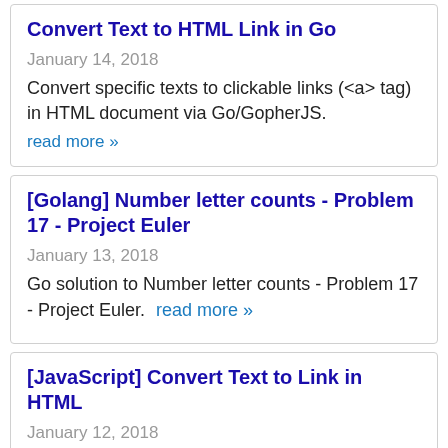Convert Text to HTML Link in Go
January 14, 2018
Convert specific texts to clickable links (<a> tag) in HTML document via Go/GopherJS.
read more »
[Golang] Number letter counts - Problem 17 - Project Euler
January 13, 2018
Go solution to Number letter counts - Problem 17 - Project Euler.  read more »
[JavaScript] Convert Text to Link in HTML
January 12, 2018